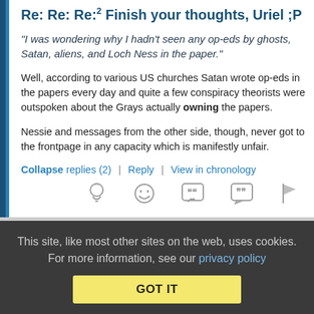Re: Re: Re:² Finish your thoughts, Uriel ;P
"I was wondering why I hadn't seen any op-eds by ghosts, Satan, aliens, and Loch Ness in the paper."
Well, according to various US churches Satan wrote op-eds in the papers every day and quite a few conspiracy theorists were outspoken about the Grays actually owning the papers.
Nessie and messages from the other side, though, never got to the frontpage in any capacity which is manifestly unfair.
Collapse replies (2) | Reply | View in chronology
[Figure (infographic): Row of icons: lightbulb, grinning emoji, quote bubble, speech bubble with quotes, flag]
This site, like most other sites on the web, uses cookies. For more information, see our privacy policy
GOT IT